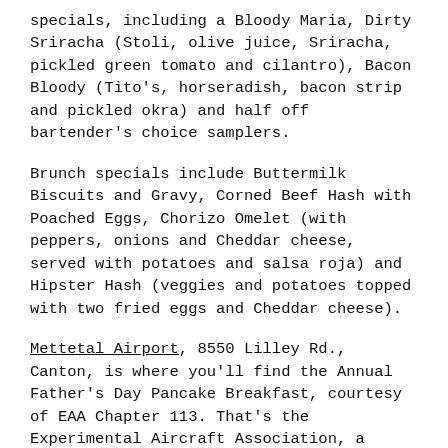specials, including a Bloody Maria, Dirty Sriracha (Stoli, olive juice, Sriracha, pickled green tomato and cilantro), Bacon Bloody (Tito's, horseradish, bacon strip and pickled okra) and half off bartender's choice samplers.
Brunch specials include Buttermilk Biscuits and Gravy, Corned Beef Hash with Poached Eggs, Chorizo Omelet (with peppers, onions and Cheddar cheese, served with potatoes and salsa roja) and Hipster Hash (veggies and potatoes topped with two fried eggs and Cheddar cheese).
Mettetal Airport, 8550 Lilley Rd., Canton, is where you'll find the Annual Father's Day Pancake Breakfast, courtesy of EAA Chapter 113. That's the Experimental Aircraft Association, a national amateur aviation organization that will benefit from proceeds from the event.